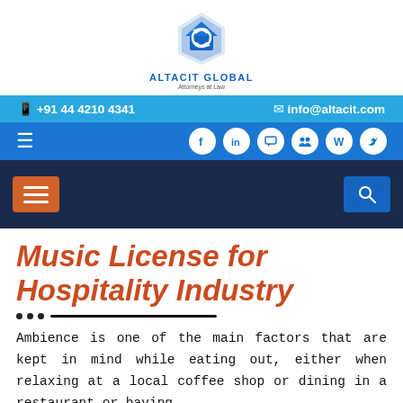[Figure (logo): Altacit Global Attorneys at Law logo with blue diamond/house icon]
+91 44 4210 4341   info@altacit.com
[Figure (infographic): Navigation bar with hamburger menu and social media icons: Facebook, LinkedIn, chat, group, Wikipedia, Twitter]
[Figure (infographic): Dark navy navigation bar with orange hamburger menu button on left and blue search button on right]
Music License for Hospitality Industry
Ambience is one of the main factors that are kept in mind while eating out, either when relaxing at a local coffee shop or dining in a restaurant or having